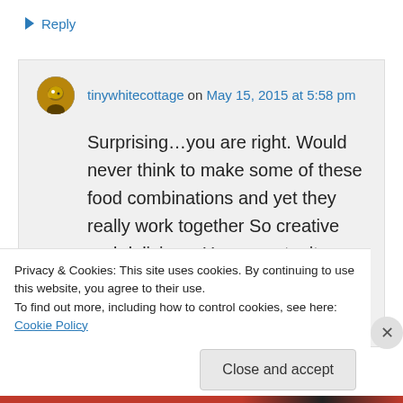↳ Reply
tinywhitecottage on May 15, 2015 at 5:58 pm
Surprising…you are right. Would never think to make some of these food combinations and yet they really work together So creative and delicious. Hope you try it, you'll love it Johanne! :)
Privacy & Cookies: This site uses cookies. By continuing to use this website, you agree to their use.
To find out more, including how to control cookies, see here: Cookie Policy
Close and accept